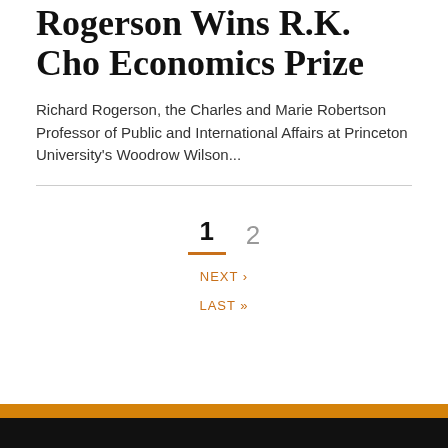Rogerson Wins R.K. Cho Economics Prize
Richard Rogerson, the Charles and Marie Robertson Professor of Public and International Affairs at Princeton University's Woodrow Wilson...
1  2  NEXT ›  LAST »